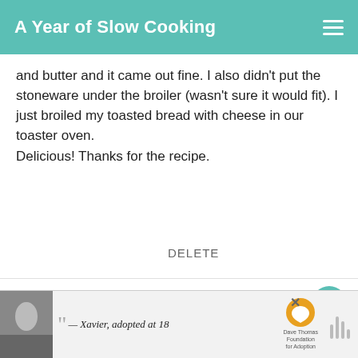A Year of Slow Cooking
and butter and it came out fine. I also didn't put the stoneware under the broiler (wasn't sure it would fit). I just broiled my toasted bread with cheese in our toaster oven.
Delicious! Thanks for the recipe.
DELETE
STEPHANIE ODEA
3/19/2008
Girl Fisher, I'm so glad that you enj... That's good to know that the sherry is optional and can be swapped with water.
WHAT'S NEXT → Whole Chicken in t...
[Figure (infographic): Advertisement banner: person in winter hat, quote '— Xavier, adopted at 18', Dave Thomas Foundation for Adoption logo]